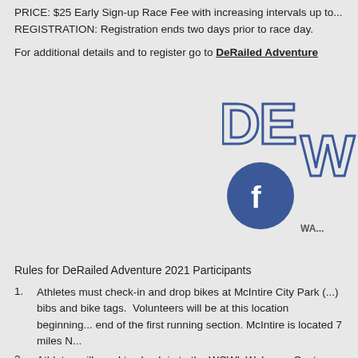PRICE: $25 Early Sign-up Race Fee with increasing intervals up to...
REGISTRATION: Registration ends two days prior to race day.
For additional details and to register go to DeRailed Adventure
[Figure (logo): DeRailed Adventure logo with 'DE' letters outlined in dark blue/navy, and a Facebook circular icon in dark blue with white 'f', and partial text 'WA...']
Rules for DeRailed Adventure 2021 Participants
Athletes must check-in and drop bikes at McIntire City Park (...) bibs and bike tags.  Volunteers will be at this location beginning... end of the first running section. McIntire is located 7 miles N...
Athletes will need to check-in to the WCWL Welcome Center (?)...